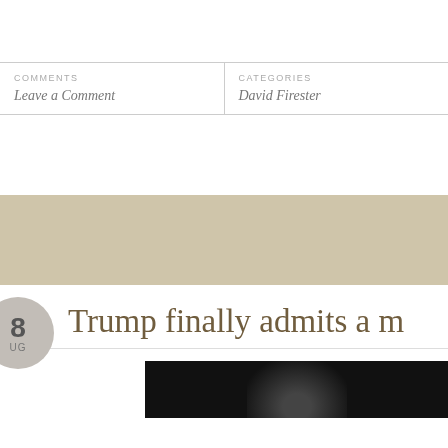COMMENTS
Leave a Comment
CATEGORIES
David Firester
Trump finally admits a m
[Figure (photo): Dark background photo, partially visible, appears to show a person against a dark stage backdrop]